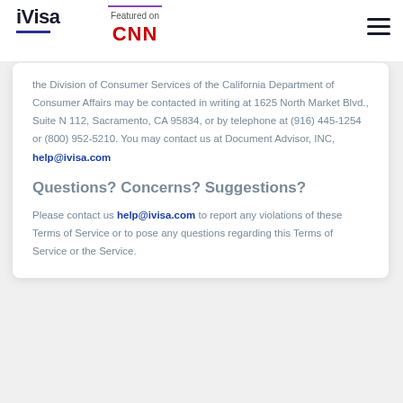iVisa | Featured on CNN
the Division of Consumer Services of the California Department of Consumer Affairs may be contacted in writing at 1625 North Market Blvd., Suite N 112, Sacramento, CA 95834, or by telephone at (916) 445-1254 or (800) 952-5210. You may contact us at Document Advisor, INC, help@ivisa.com
Questions? Concerns? Suggestions?
Please contact us help@ivisa.com to report any violations of these Terms of Service or to pose any questions regarding this Terms of Service or the Service.